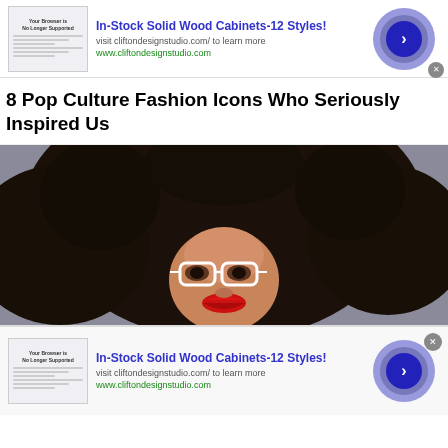[Figure (screenshot): Advertisement banner for Clifton Design Studio showing cabinet image, text 'In-Stock Solid Wood Cabinets-12 Styles!', URL www.cliftondesignstudio.com, and circular arrow button]
8 Pop Culture Fashion Icons Who Seriously Inspired Us
[Figure (photo): A woman with large curly hair, white aviator glasses, and red lips photographed against a gray background]
[Figure (screenshot): Second advertisement banner for Clifton Design Studio, same as top banner]